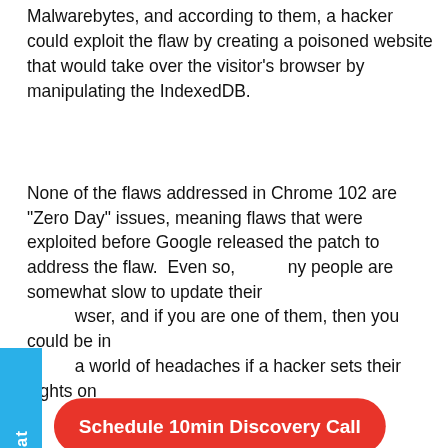Malwarebytes, and according to them, a hacker could exploit the flaw by creating a poisoned website that would take over the visitor's browser by manipulating the IndexedDB.
None of the flaws addressed in Chrome 102 are "Zero Day" issues, meaning flaws that were exploited before Google released the patch to address the flaw.  Even so, many people are somewhat slow to update their browser, and if you are one of them, then you could be in a world of headaches if a hacker sets their sights on your system.
You can get Chrome 102 for Windows, Mac, and Linux right now. In case you weren't aware, normally Chrome is updated every four weeks but the extended release gains an additional four weeks by Google back-porting important security fixes to it.
Also be aware that an extended stable release is updated every eight hours today and kudos to those who found bugs last year, Google's Project Zero team counted a total of 58 Zero-Day